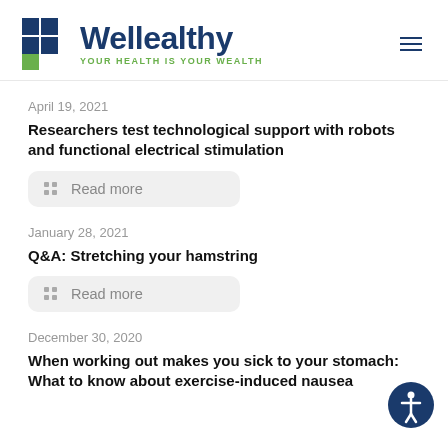[Figure (logo): Wellealthy logo with blue cross icon, dark blue wordmark 'Wellealthy', green tagline 'YOUR HEALTH IS YOUR WEALTH', and hamburger menu icon]
April 19, 2021
Researchers test technological support with robots and functional electrical stimulation
Read more
January 28, 2021
Q&A: Stretching your hamstring
Read more
December 30, 2020
When working out makes you sick to your stomach: What to know about exercise-induced nausea